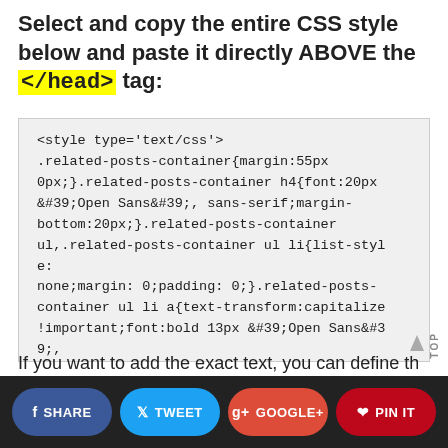Select and copy the entire CSS style below and paste it directly ABOVE the </head> tag:
<style type='text/css'>.related-posts-container{margin:55px 0px;}.related-posts-container h4{font:20px &#39;Open Sans&#39;, sans-serif;margin-bottom:20px;}.related-posts-container ul,.related-posts-container ul li{list-style:none;margin: 0;padding: 0;}.related-posts-container ul li a{text-transform:capitalize !important;font:bold 13px &#39;Open Sans&#39;, sans-serif;outline: 0;}.related-snippets{margin-top:5px;font:italic 12px &#39;Open Sans&#39;, sans-serif;}.related-posts-1 li{list-style:inside none disc !important;}.related-posts-1 li,.related-posts-2 li{border-top:1px solid
If you want to add the exact text, you can define the full text...